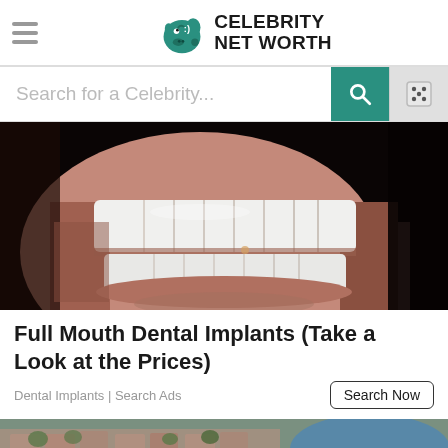Celebrity Net Worth
Search for a Celebrity...
[Figure (photo): Close-up photo of a man's smile showing white dental implants/teeth]
Full Mouth Dental Implants (Take a Look at the Prices)
Dental Implants | Search Ads
[Figure (photo): Aerial view of a residential neighborhood with houses, trees, and a lake, along with a faded reflected version below]